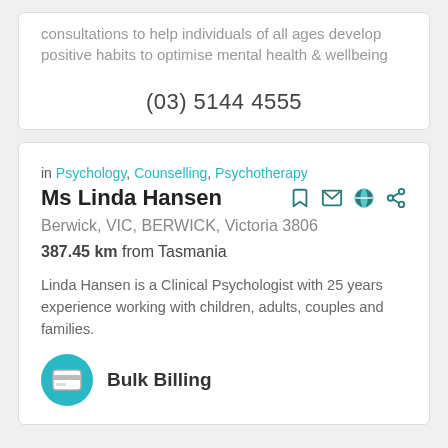consultations to help individuals of all ages develop positive habits to optimise mental health & wellbeing
(03) 5144 4555
in Psychology, Counselling, Psychotherapy
Ms Linda Hansen
Berwick, VIC, BERWICK, Victoria 3806
387.45 km from Tasmania
Linda Hansen is a Clinical Psychologist with 25 years experience working with children, adults, couples and families.
Bulk Billing